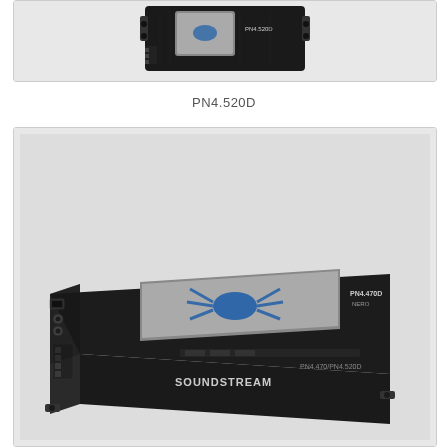[Figure (photo): Top portion of a Soundstream car amplifier (PN4.520D series), black device shown from above at an angle, partially cropped]
PN4.520D
[Figure (photo): Soundstream PN4.470D car amplifier, black compact mono amplifier with silver brushed metal panel featuring a blue Soundstream spider logo, ports and connectors visible on the left side, model label on front face reading PN4.470D NERO]